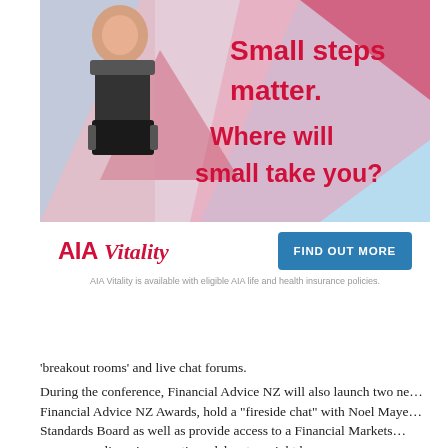[Figure (advertisement): AIA Vitality advertisement showing a man wearing a back brace. Text reads 'Small steps matter. Where will small take you?' with AIA Vitality logo and 'FIND OUT MORE' button. Disclaimer: 'AIA Vitality is available with eligible AIA life and health insurance policies.']
'breakout rooms' and live chat forums.
During the conference, Financial Advice NZ will also launch two ne… Financial Advice NZ Awards, hold a "fireside chat" with Noel Maye… Standards Board as well as provide access to a Financial Markets… answer any licensing questions delegates might have.
Keynote speakers:
- Mykel Dixon, Australia's Breakthrough Speaker of the Year, who s… listed companies how to stay relevant in the 21st century
- Dr Angus Hervey, of Future Crunch, a political economist speciali…